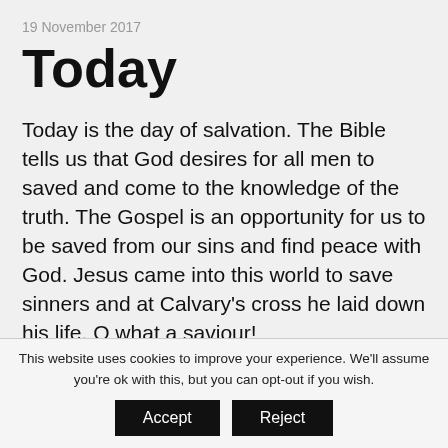19 November 2017
Today
Today is the day of salvation. The Bible tells us that God desires for all men to saved and come to the knowledge of the truth. The Gospel is an opportunity for us to be saved from our sins and find peace with God. Jesus came into this world to save sinners and at Calvary's cross he laid down his life. O what a saviour!
This website uses cookies to improve your experience. We'll assume you're ok with this, but you can opt-out if you wish.